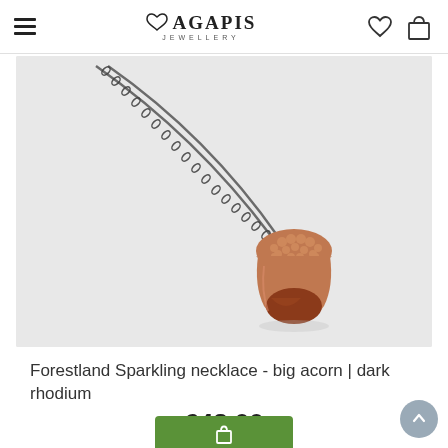AGAPIS JEWELLERY
[Figure (photo): Forestland Sparkling necklace with big acorn pendant in rose gold/copper color on a dark rhodium chain, photographed on a light grey background.]
Forestland Sparkling necklace - big acorn | dark rhodium
€48.00